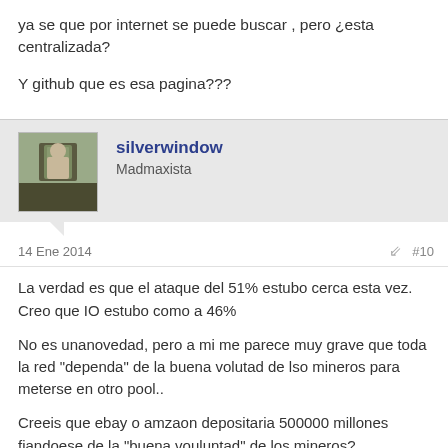ya se que por internet se puede buscar , pero ¿esta centralizada?

Y github que es esa pagina???
silverwindow
Madmaxista
14 Ene 2014    #10
La verdad es que el ataque del 51% estubo cerca esta vez. Creo que IO estubo como a 46%

No es unanovedad, pero a mi me parece muy grave que toda la red "dependa" de la buena volutad de lso mineros para meterse en otro pool..

Creeis que ebay o amzaon depositaria 500000 millones fiandoese de la "buena vouluntad" de los mineros?

Y que pasa si hackean estos 2 pools principales.
El 51% es un punto muy debil, y aunqu es improbable no es